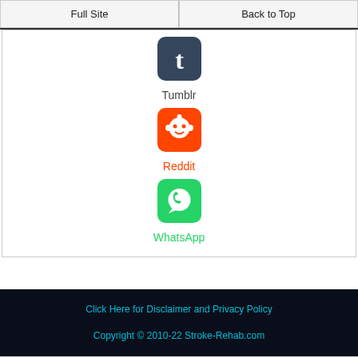Full Site | Back to Top
[Figure (logo): Tumblr social media icon - dark blue rounded square with white 't' letter]
Tumblr
[Figure (logo): Reddit social media icon - orange/red rounded square with white alien mascot]
Reddit
[Figure (logo): WhatsApp social media icon - green rounded square with white phone handset in speech bubble]
WhatsApp
Click Here for Disclaimer and Privacy Policy
Copyright © 2010-22 Stroke-Rehab.com